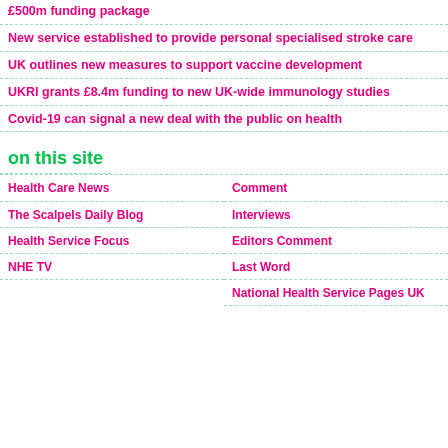£500m funding package
New service established to provide personal specialised stroke care
UK outlines new measures to support vaccine development
UKRI grants £8.4m funding to new UK-wide immunology studies
Covid-19 can signal a new deal with the public on health
on this site
Health Care News
Comment
The Scalpels Daily Blog
Interviews
Health Service Focus
Editors Comment
NHE TV
Last Word
National Health Service Pages UK